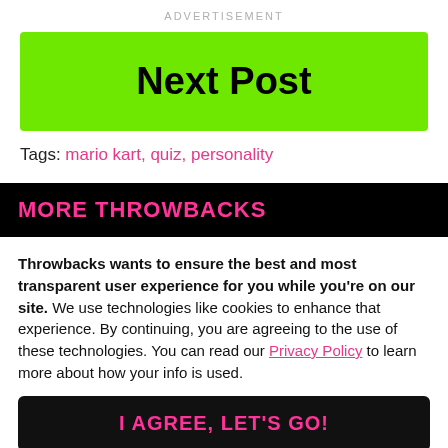ADVERTISEMENT
[Figure (other): Green button with bold text 'Next Post']
Tags: mario kart, quiz, personality
MORE THROWBACKS
Throwbacks wants to ensure the best and most transparent user experience for you while you're on our site. We use technologies like cookies to enhance that experience. By continuing, you are agreeing to the use of these technologies. You can read our Privacy Policy to learn more about how your info is used.
I AGREE, LET'S GO!